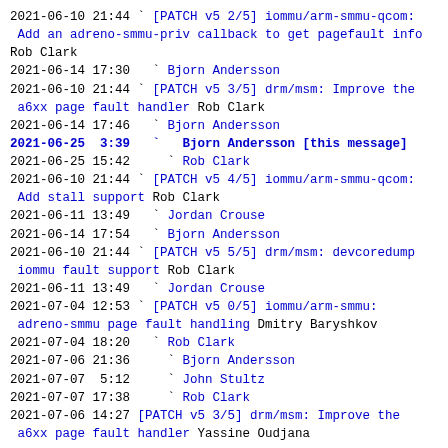2021-06-10 21:44 ` [PATCH v5 2/5] iommu/arm-smmu-qcom: Add an adreno-smmu-priv callback to get pagefault info Rob Clark
2021-06-14 17:30   ` Bjorn Andersson
2021-06-10 21:44 ` [PATCH v5 3/5] drm/msm: Improve the a6xx page fault handler Rob Clark
2021-06-14 17:46   ` Bjorn Andersson
2021-06-25  3:39   ` Bjorn Andersson [this message]
2021-06-25 15:42     ` Rob Clark
2021-06-10 21:44 ` [PATCH v5 4/5] iommu/arm-smmu-qcom: Add stall support Rob Clark
2021-06-11 13:49   ` Jordan Crouse
2021-06-14 17:54   ` Bjorn Andersson
2021-06-10 21:44 ` [PATCH v5 5/5] drm/msm: devcoredump iommu fault support Rob Clark
2021-06-11 13:49   ` Jordan Crouse
2021-07-04 12:53 ` [PATCH v5 0/5] iommu/arm-smmu: adreno-smmu page fault handling Dmitry Baryshkov
2021-07-04 18:20   ` Rob Clark
2021-07-06 21:36     ` Bjorn Andersson
2021-07-07  5:12     ` John Stultz
2021-07-07 17:38     ` Rob Clark
2021-07-06 14:27 [PATCH v5 3/5] drm/msm: Improve the a6xx page fault handler Yassine Oudjana
Reply instructions:
You may reply publicly to this message via plain-text email